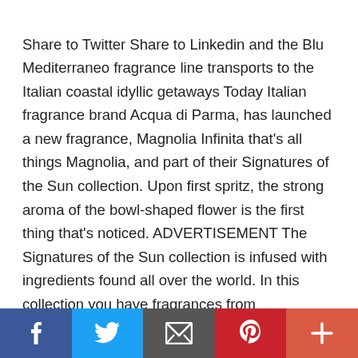Share to Twitter Share to Linkedin and the Blu Mediterraneo fragrance line transports to the Italian coastal idyllic getaways Today Italian fragrance brand Acqua di Parma, has launched a new fragrance, Magnolia Infinita that's all things Magnolia, and part of their Signatures of the Sun collection. Upon first spritz, the strong aroma of the bowl-shaped flower is the first thing that's noticed. ADVERTISEMENT The Signatures of the Sun collection is infused with ingredients found all over the world. In this collection you have fragrances from Osmanthus, to Lily of the Valley, and Leather. Magnolia Infinita fits in because of its
Social share bar: Facebook, Twitter, Email, Pinterest, More